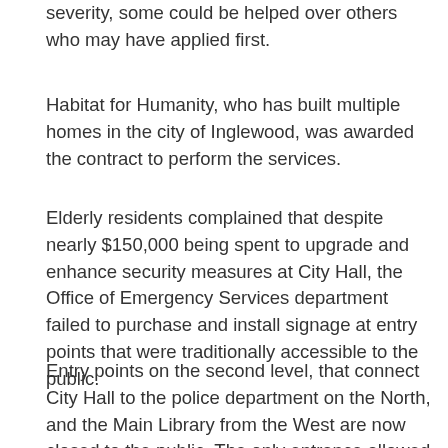severity, some could be helped over others who may have applied first.
Habitat for Humanity, who has built multiple homes in the city of Inglewood, was awarded the contract to perform the services.
Elderly residents complained that despite nearly $150,000 being spent to upgrade and enhance security measures at City Hall, the Office of Emergency Services department failed to purchase and install signage at entry points that were traditionally accessible to the public.
Entry points on the second level, that connect City Hall to the police department on the North, and the Main Library from the West are now closed to the public. The only entrance allowed for entry is at the main entrance where the water fountain is